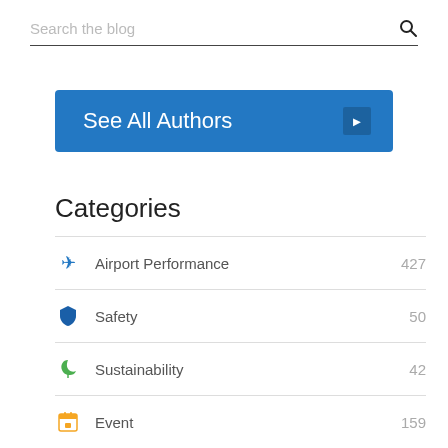Search the blog
See All Authors
Categories
Airport Performance  427
Safety  50
Sustainability  42
Event  159
Aviation Innovation  80